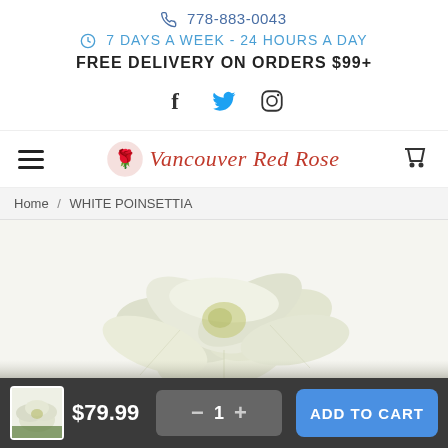778-883-0043
7 DAYS A WEEK - 24 HOURS A DAY
FREE DELIVERY ON ORDERS $99+
[Figure (logo): Social media icons: Facebook (f), Twitter (bird), Instagram (camera)]
[Figure (logo): Vancouver Red Rose florist logo with rose icon and brand name in red italic script]
Home / WHITE POINSETTIA
[Figure (photo): White poinsettia flowers, top view, white petals with green leaves]
$79.99
1
ADD TO CART